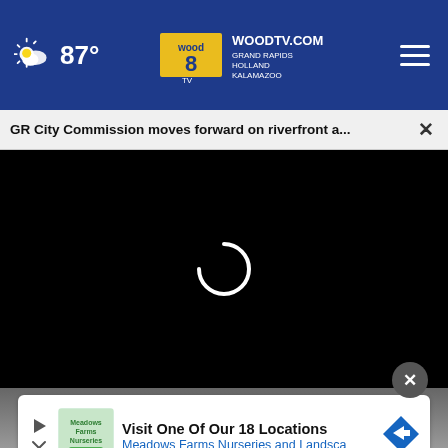87° WOODTV.COM GRAND RAPIDS HOLLAND KALAMAZOO wood8 TV
GR City Commission moves forward on riverfront a...
[Figure (screenshot): Video player area showing black loading screen with spinning loading indicator]
[Figure (screenshot): Advertisement banner: Visit One Of Our 18 Locations — Meadows Farms Nurseries and Landscape, with logo and navigation icon]